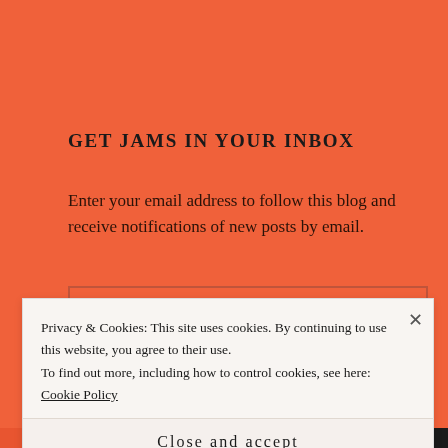GET JAMS IN YOUR INBOX
Enter your email address to follow this blog and receive notifications of new posts by email.
Privacy & Cookies: This site uses cookies. By continuing to use this website, you agree to their use.
To find out more, including how to control cookies, see here: Cookie Policy
Close and accept